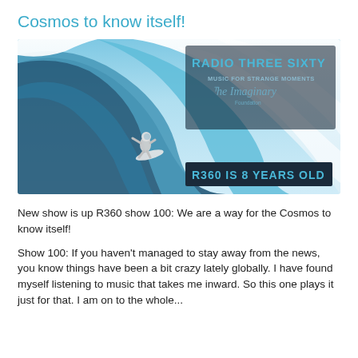Cosmos to know itself!
[Figure (illustration): Radio Three Sixty promotional image: an astronaut surfing a large ocean wave, with text overlays 'RADIO THREE SIXTY', 'MUSIC FOR STRANGE MOMENTS', 'The Imaginary Foundation', and 'R360 IS 8 YEARS OLD']
New show is up R360 show 100: We are a way for the Cosmos to know itself!
Show 100: If you haven't managed to stay away from the news, you know things have been a bit crazy lately globally. I have found myself listening to music that takes me inward. So this one plays it just for that. I am on to the whole...